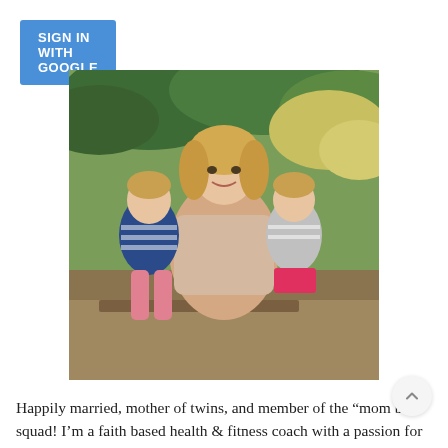SIGN IN WITH GOOGLE
[Figure (photo): A smiling blonde woman crouching outdoors with two young toddler girls (twins). The children are holding pinecones. The setting is a wooded outdoor area with green foliage and fallen leaves in the background. The left child wears a navy striped top with pink pants; the right child wears a gray striped top with a pink skirt. The woman wears a light pink/beige sweater.]
Happily married, mother of twins, and member of the “mom bod” squad! I’m a faith based health & fitness coach with a passion for